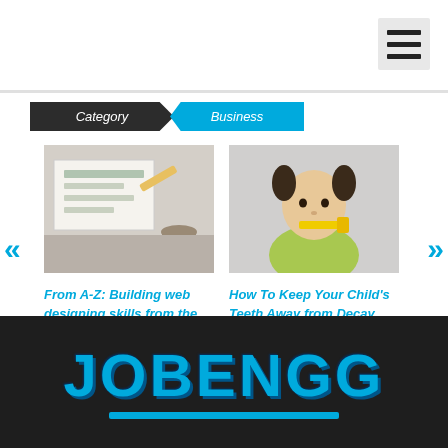Category   Business
[Figure (photo): Web design sketches and plans on paper]
From A-Z: Building web designing skills from the ground up to land your first job
[Figure (photo): Young child brushing teeth with yellow toothbrush]
How To Keep Your Child's Teeth Away from Decay
JOBENGG